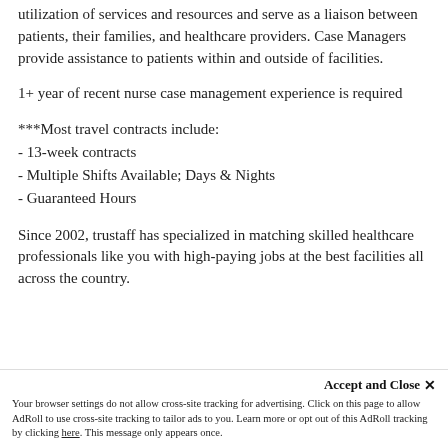utilization of services and resources and serve as a liaison between patients, their families, and healthcare providers. Case Managers provide assistance to patients within and outside of facilities.
1+ year of recent nurse case management experience is required
***Most travel contracts include:
- 13-week contracts
- Multiple Shifts Available; Days & Nights
- Guaranteed Hours
Since 2002, trustaff has specialized in matching skilled healthcare professionals like you with high-paying jobs at the best facilities all across the country.
Accept and Close ✕
Your browser settings do not allow cross-site tracking for advertising. Click on this page to allow AdRoll to use cross-site tracking to tailor ads to you. Learn more or opt out of this AdRoll tracking by clicking here. This message only appears once.